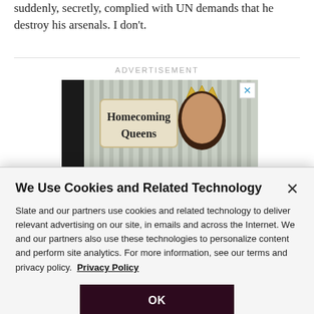suddenly, secretly, complied with UN demands that he destroy his arsenals. I don't.
ADVERTISEMENT
[Figure (photo): Advertisement image showing a young woman wearing a crown holding a sign that reads 'Homecoming Queens']
We Use Cookies and Related Technology
Slate and our partners use cookies and related technology to deliver relevant advertising on our site, in emails and across the Internet. We and our partners also use these technologies to personalize content and perform site analytics. For more information, see our terms and privacy policy. Privacy Policy
OK